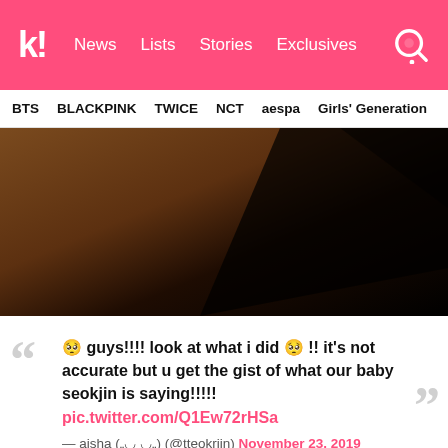k! News Lists Stories Exclusives
BTS   BLACKPINK   TWICE   NCT   aespa   Girls' Generation
[Figure (photo): Dark abstract close-up photo with brown and black tones, appears to be a shadowed surface or garment]
❝ guys!!!! look at what i did 🥺 !! it's not accurate but u get the gist of what our baby seokjin is saying!!!!! pic.twitter.com/Q1Ew72rHSa ❞
— aisha („◡ ◡„) (@tteokrjin) November 23, 2019